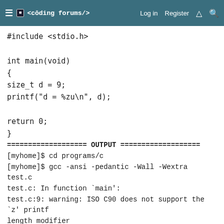≡  <coding forums/>   Log in   Register
#include <stdio.h>

int main(void)
{
size_t d = 9;
printf("d = %zu\n", d);

return 0;
}
=================== OUTPUT ===================
[myhome]$ cd programs/c
[myhome]$ gcc -ansi -pedantic -Wall -Wextra test.c
test.c: In function `main':
test.c:9: warning: ISO C90 does not support the `z' printf length modifier